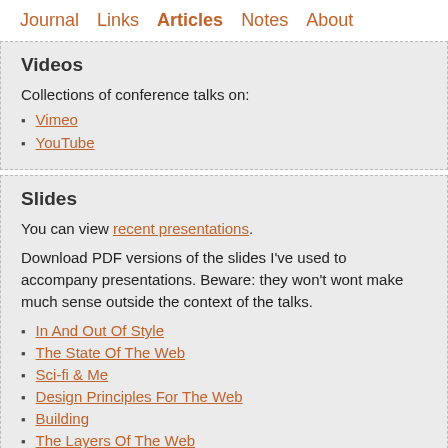Journal  Links  Articles  Notes  About
Videos
Collections of conference talks on:
Vimeo
YouTube
Slides
You can view recent presentations.
Download PDF versions of the slides I've used to accompany presentations. Beware: they won't wont make much sense outside the context of the talks.
In And Out Of Style
The State Of The Web
Sci-fi & Me
Design Principles For The Web
Building
The Layers Of The Web